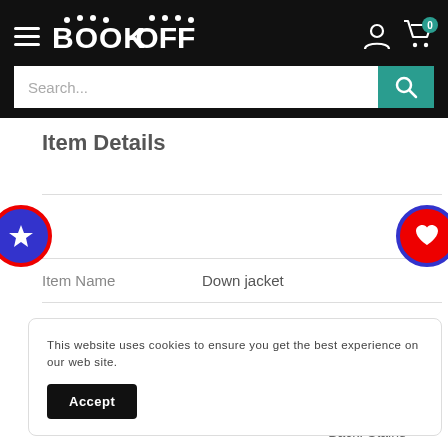[Figure (screenshot): BOOK-OFF website header with hamburger menu, logo, user icon, cart icon with badge 0, and search bar with teal search button]
Item Details
[Figure (other): Blue circle with white star icon (bookmark/favorite button) on left edge]
[Figure (other): Red circle with white heart icon (favorite button) on right edge]
| Item Name | Down jacket |
| --- | --- |
This website uses cookies to ensure you get the best experience on our web site.
Accept
Back: Stains